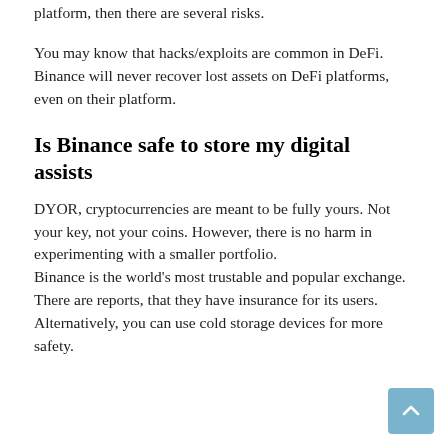platform, then there are several risks.
You may know that hacks/exploits are common in DeFi. Binance will never recover lost assets on DeFi platforms, even on their platform.
Is Binance safe to store my digital assists
DYOR, cryptocurrencies are meant to be fully yours. Not your key, not your coins. However, there is no harm in experimenting with a smaller portfolio.
Binance is the world's most trustable and popular exchange. There are reports, that they have insurance for its users.
Alternatively, you can use cold storage devices for more safety.